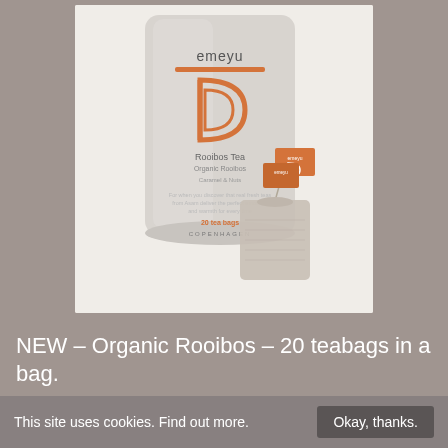[Figure (photo): Emeyu brand Rooibos Tea product bag (grey/white pouch with orange logo and branding text reading 'Rooibos Tea, Organic Rooibos, 20 tea bags, Copenhagen') alongside two individual tea bag sachets with orange emeyu branded tags, on a light background.]
NEW – Organic Rooibos – 20 teabags in a bag.
120,00 DKK  Incl. VAT
This site uses cookies. Find out more.
Okay, thanks.